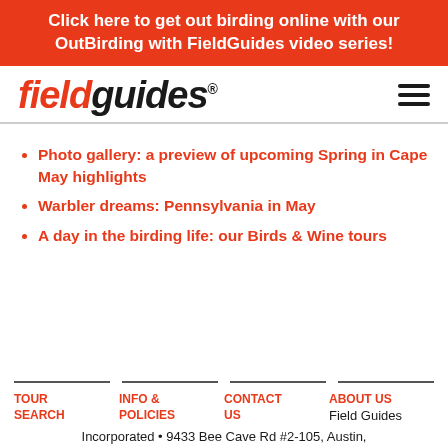Click here to get out birding online with our OutBirding with FieldGuides video series!
[Figure (logo): FieldGuides logo in italic bold font, 'field' in red and 'guides' in black, with registered trademark symbol]
Photo gallery: a preview of upcoming Spring in Cape May highlights
Warbler dreams: Pennsylvania in May
A day in the birding life: our Birds & Wine tours
TOUR SEARCH | INFO & POLICIES | CONTACT US | ABOUT US | Field Guides Incorporated • 9433 Bee Cave Rd #2-105, Austin,